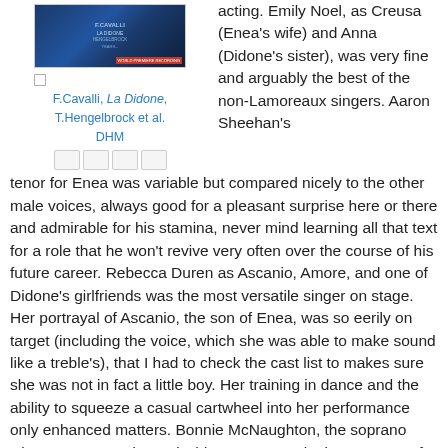[Figure (photo): Album cover for F.Cavalli La Didone, blue/dark themed cover with text]
F.Cavalli, La Didone, T.Hengelbrock et al. DHM
acting. Emily Noel, as Creusa (Enea's wife) and Anna (Didone's sister), was very fine and arguably the best of the non-Lamoreaux singers. Aaron Sheehan's tenor for Enea was variable but compared nicely to the other male voices, always good for a pleasant surprise here or there and admirable for his stamina, never mind learning all that text for a role that he won't revive very often over the course of his future career. Rebecca Duren as Ascanio, Amore, and one of Didone's girlfriends was the most versatile singer on stage. Her portrayal of Ascanio, the son of Enea, was so eerily on target (including the voice, which she was able to make sound like a treble's), that I had to check the cast list to makes sure she was not in fact a little boy. Her training in dance and the ability to squeeze a casual cartwheel into her performance only enhanced matters. Bonnie McNaughton, the soprano who was Cassandra and Didone, too, was in the category of those that pleased, and